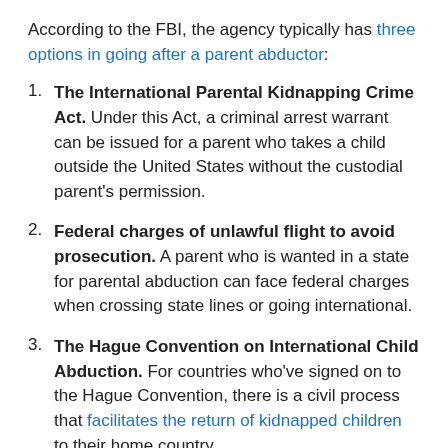According to the FBI, the agency typically has three options in going after a parent abductor:
The International Parental Kidnapping Crime Act. Under this Act, a criminal arrest warrant can be issued for a parent who takes a child outside the United States without the custodial parent's permission.
Federal charges of unlawful flight to avoid prosecution. A parent who is wanted in a state for parental abduction can face federal charges when crossing state lines or going international.
The Hague Convention on International Child Abduction. For countries who've signed on to the Hague Convention, there is a civil process that facilitates the return of kidnapped children to their home country.
Depending upon where Joshua Hakken took his two